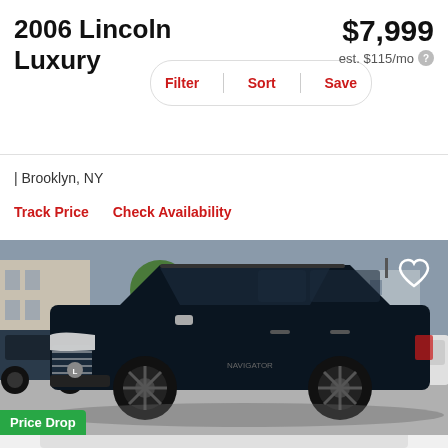2006 Lincoln Luxury
$7,999
est. $115/mo
Filter | Sort | Save
| Brooklyn, NY
Track Price    Check Availability
[Figure (photo): Black Lincoln Navigator SUV parked in a lot in Brooklyn, NY. Other cars visible in background including a Nissan. The SUV has dark wheels and tinted windows. A 'Price Drop' green badge appears at the bottom left of the image.]